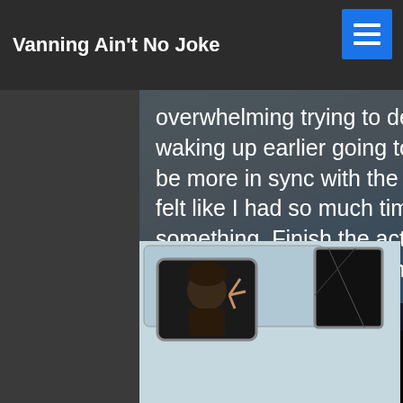Vanning Ain't No Joke
far outweighed the discomfort or. C... had so much freedom at first it was overwhelming trying to decide what to do with my time. I was waking up earlier going to sleep earlier. My schedule morphed to be more in sync with the rising and setting of the sun. Suddenly I felt like I had so much time during the day. I would go do something. Finish the activity or get bored and ask myself "What's next?" I was outside doing things I wanted all day.
[Figure (photo): View from the roof of a van showing a van window with a person giving a peace sign, a side mirror, and a colorful sunset sky in the background]